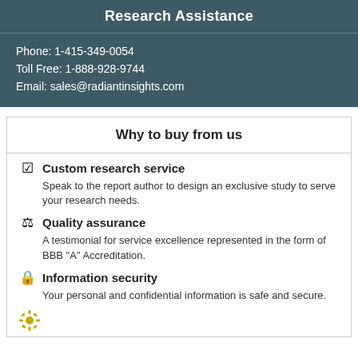Research Assistance
Phone: 1-415-349-0054
Toll Free: 1-888-928-9744
Email: sales@radiantinsights.com
Why to buy from us
Custom research service
Speak to the report author to design an exclusive study to serve your research needs.
Quality assurance
A testimonial for service excellence represented in the form of BBB "A" Accreditation.
Information security
Your personal and confidential information is safe and secure.